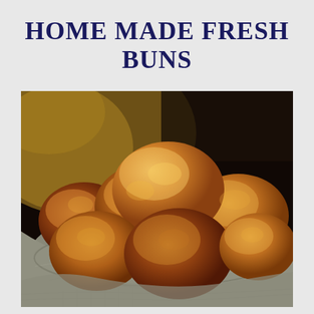HOME MADE FRESH BUNS
[Figure (photo): A basket lined with a gray linen cloth filled with golden-brown homemade fresh buns, photographed in warm ambient light against a dark background.]